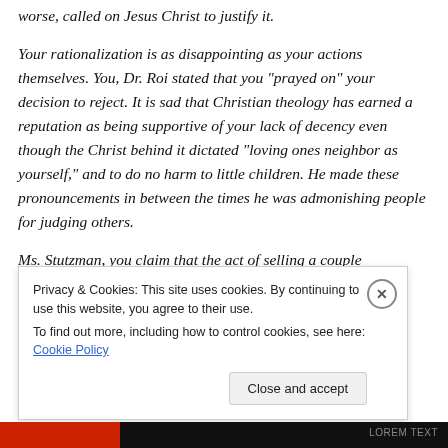worse, called on Jesus Christ to justify it.
Your rationalization is as disappointing as your actions themselves. You, Dr. Roi stated that you "prayed on" your decision to reject. It is sad that Christian theology has earned a reputation as being supportive of your lack of decency even though the Christ behind it dictated "loving ones neighbor as yourself," and to do no harm to little children. He made these pronouncements in between the times he was admonishing people for judging others.
Ms. Stutzman, you claim that the act of selling a couple
Privacy & Cookies: This site uses cookies. By continuing to use this website, you agree to their use.
To find out more, including how to control cookies, see here: Cookie Policy
Close and accept